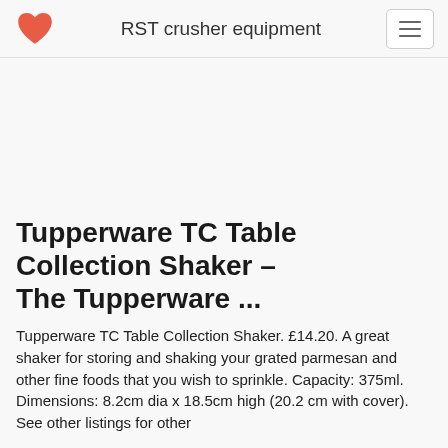RST crusher equipment
Tupperware TC Table Collection Shaker – The Tupperware ...
Tupperware TC Table Collection Shaker. £14.20. A great shaker for storing and shaking your grated parmesan and other fine foods that you wish to sprinkle. Capacity: 375ml. Dimensions: 8.2cm dia x 18.5cm high (20.2 cm with cover). See other listings for other